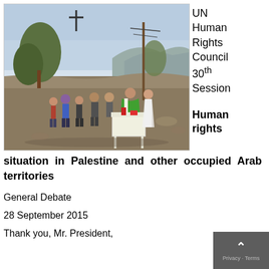[Figure (photo): Outdoor religious ceremony with a priest in green vestments standing at a table/altar, surrounded by a group of people on a hillside with olive trees and utility poles in the background.]
UN Human Rights Council 30th Session

Human rights
situation in Palestine and other occupied Arab territories
General Debate
28 September 2015
Thank you, Mr. President,